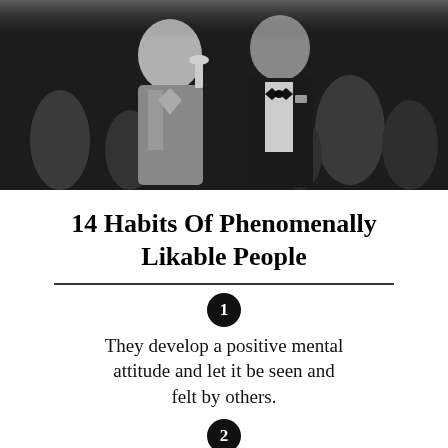[Figure (photo): Black and white photograph of two men in formal/semi-formal attire, one holding a glass, in what appears to be a social setting]
14 Habits Of Phenomenally Likable People
They develop a positive mental attitude and let it be seen and felt by others.
They always speak in a carefully disciplined, friendly tone.